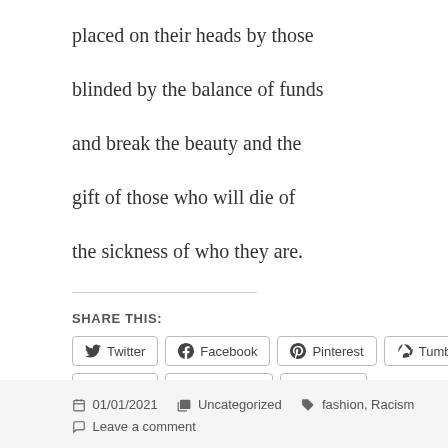placed on their heads by those

blinded by the balance of funds

and break the beauty and the

gift of those who will die of

the sickness of who they are.
SHARE THIS:
Twitter Facebook Pinterest Tumblr Reddit WhatsApp Pocket
01/01/2021  Uncategorized  fashion, Racism
Leave a comment